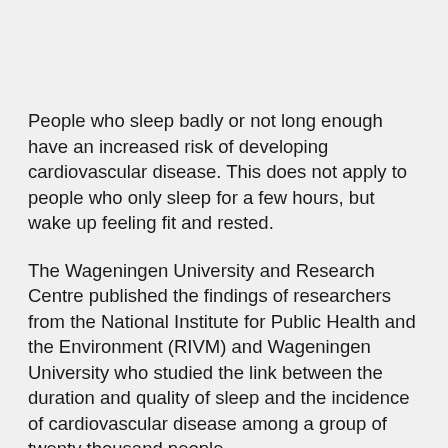People who sleep badly or not long enough have an increased risk of developing cardiovascular disease. This does not apply to people who only sleep for a few hours, but wake up feeling fit and rested.
The Wageningen University and Research Centre published the findings of researchers from the National Institute for Public Health and the Environment (RIVM) and Wageningen University who studied the link between the duration and quality of sleep and the incidence of cardiovascular disease among a group of twenty thousand people.
The research team concluded that people who sleep for less than six hours have on average a fifteen percent higher risk of developing cardiovascular disease than people who sleep for seven to eight hours. Short sleepers who also sleep badly are doubly unfortunate. The research showed that this